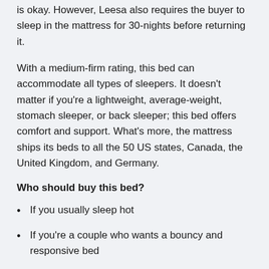is okay. However, Leesa also requires the buyer to sleep in the mattress for 30-nights before returning it.
With a medium-firm rating, this bed can accommodate all types of sleepers. It doesn't matter if you're a lightweight, average-weight, stomach sleeper, or back sleeper; this bed offers comfort and support. What's more, the mattress ships its beds to all the 50 US states, Canada, the United Kingdom, and Germany.
Who should buy this bed?
If you usually sleep hot
If you're a couple who wants a bouncy and responsive bed
People who prefer a medium-firm feel
If you love sitting at the edge of the bed